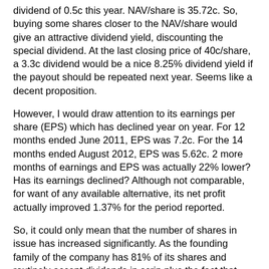dividend of 0.5c this year. NAV/share is 35.72c. So, buying some shares closer to the NAV/share would give an attractive dividend yield, discounting the special dividend. At the last closing price of 40c/share, a 3.3c dividend would be a nice 8.25% dividend yield if the payout should be repeated next year. Seems like a decent proposition.
However, I would draw attention to its earnings per share (EPS) which has declined year on year. For 12 months ended June 2011, EPS was 7.2c. For the 14 months ended August 2012, EPS was 5.62c. 2 more months of earnings and EPS was actually 22% lower? Has its earnings declined? Although not comparable, for want of any available alternative, its net profit actually improved 1.37% for the period reported.
So, it could only mean that the number of shares in issue has increased significantly. As the founding family of the company has 81% of its shares and routinely accept dividends in scrip plus the fact that there are many outstanding warrants (expiring in 2013 and 2017), further dilution of EPS is to be expected, all else remaining equal.